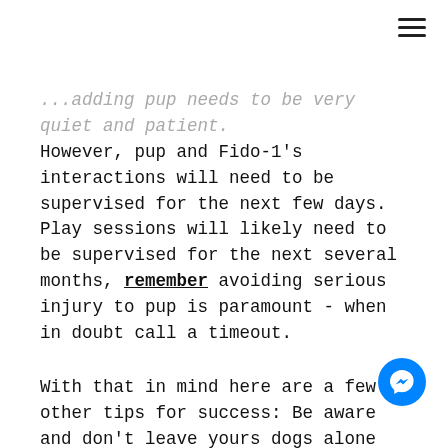...adding pup needs to be very quiet and patient. However, pup and Fido-1's interactions will need to be supervised for the next few days. Play sessions will likely need to be supervised for the next several months, remember avoiding serious injury to pup is paramount - when in doubt call a timeout.
With that in mind here are a few other tips for success: Be aware and don't leave yours dogs alone and unsupervised. Avoid free feeding and encourage waiting when it is feeding time. When you offer special treats e.g. chews and/or raw hides, ensure there is enough for all, supervise, and pick them up long before they are fully consumed. Please be sure have an ample supply of toys and beds. If one toy